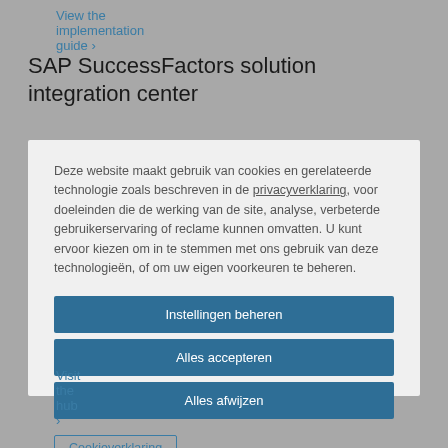View the implementation guide ›
SAP SuccessFactors solution integration center
Deze website maakt gebruik van cookies en gerelateerde technologie zoals beschreven in de privacyverklaring, voor doeleinden die de werking van de site, analyse, verbeterde gebruikerservaring of reclame kunnen omvatten. U kunt ervoor kiezen om in te stemmen met ons gebruik van deze technologieën, of om uw eigen voorkeuren te beheren.
Instellingen beheren
Alles accepteren
Alles afwijzen
Cookieverklaring
Visit the hub ›